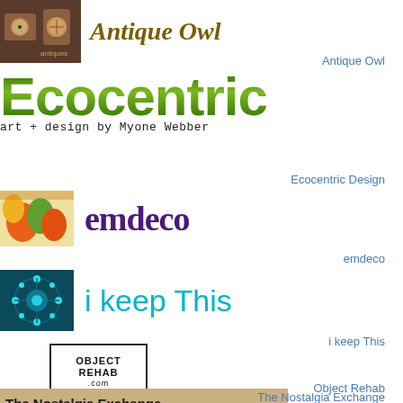[Figure (logo): Antique Owl logo image showing clocks on shelf, brown tones]
Antique Owl
Antique Owl
[Figure (logo): Ecocentric Design logo - large green text with animal print pattern, subtitle art + design by Myone Webber]
Ecocentric Design
[Figure (logo): emdeco logo - colorful flowers image beside purple serif emdeco text]
emdeco
[Figure (logo): i keep This logo - teal mandala image beside cyan light text i keep This]
i keep This
[Figure (logo): Object Rehab logo - black bordered box with OBJECT REHAB .com text]
Object Rehab
[Figure (logo): The Nostalgia Exchange banner - Take a Trip Down Memory Lane Through Our Vintage Wares]
The Nostalgia Exchange